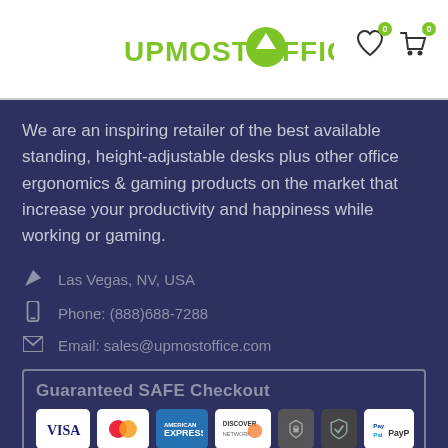[Figure (logo): Upmost Office logo in green and white on white header background, with heart and cart icons with 0 badge in top right]
We are an inspiring retailer of the best available standing, height-adjustable desks plus other office ergonomics & gaming products on the market that increase your productivity and happiness while working or gaming.
Las Vegas, NV, USA
Phone: (888)688-7288
Email: sales@upmostoffice.com
[Figure (infographic): Guaranteed SAFE Checkout box with payment icons: VISA, MasterCard, American Express, Discover Network, Stripe, security badge, PayPal]
NEWSLETTER